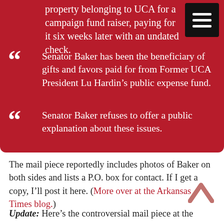property belonging to UCA for a campaign fund raiser, paying for it six weeks later with an undated check.
Senator Baker has been the beneficiary of gifts and favors paid for from Former UCA President Lu Hardin’s public expense fund.
Senator Baker refuses to offer a public explanation about these issues.
The mail piece reportedly includes photos of Baker on both sides and lists a P.O. box for contact. If I get a copy, I’ll post it here. (More over at the Arkansas Times blog.)
Update: Here’s the controversial mail piece at the